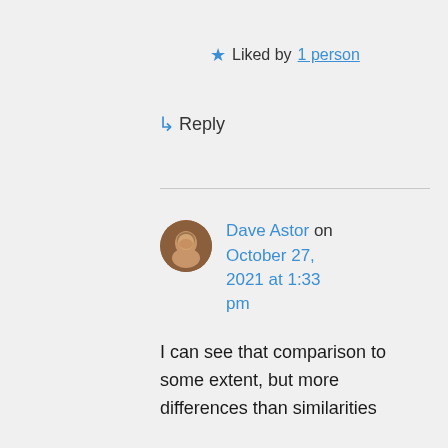★ Liked by 1 person
↳ Reply
Dave Astor on October 27, 2021 at 1:33 pm
I can see that comparison to some extent, but more differences than similarities between the